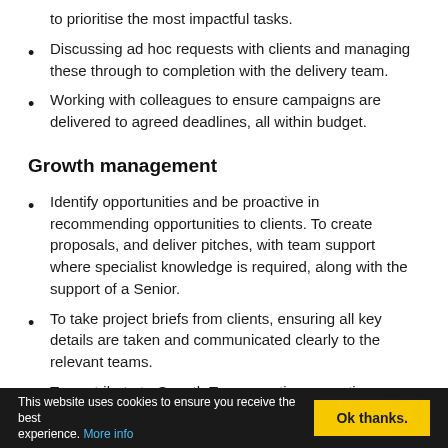to prioritise the most impactful tasks.
Discussing ad hoc requests with clients and managing these through to completion with the delivery team.
Working with colleagues to ensure campaigns are delivered to agreed deadlines, all within budget.
Growth management
Identify opportunities and be proactive in recommending opportunities to clients. To create proposals, and deliver pitches, with team support where specialist knowledge is required, along with the support of a Senior.
To take project briefs from clients, ensuring all key details are taken and communicated clearly to the relevant teams.
To contribute to Growth Team meetings, creating
This website uses cookies to ensure you receive the best experience. More info